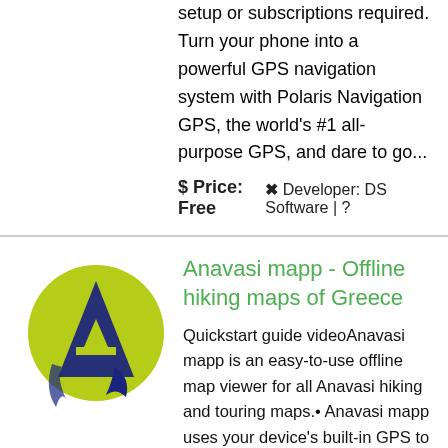setup or subscriptions required. Turn your phone into a powerful GPS navigation system with Polaris Navigation GPS, the world's #1 all-purpose GPS, and dare to go...
$ Price: Free   ✖ Developer: DS Software | ?
[Figure (logo): Anavasi mapp app logo: yellow-green circle with dark blue mountain/letter A graphic]
Anavasi mapp - Offline hiking maps of Greece
Quickstart guide videoAnavasi mapp is an easy-to-use offline map viewer for all Anavasi hiking and touring maps.• Anavasi mapp uses your device's built-in GPS to locate you even when you are out of range of a network or internet...
$ Price:   ✖ Developer: Anavasi editions -